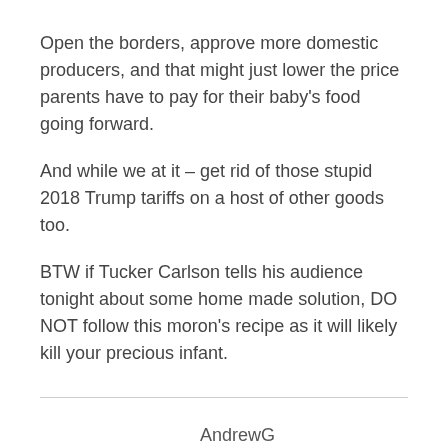Open the borders, approve more domestic producers, and that might just lower the price parents have to pay for their baby's food going forward.
And while we at it – get rid of those stupid 2018 Trump tariffs on a host of other goods too.
BTW if Tucker Carlson tells his audience tonight about some home made solution, DO NOT follow this moron's recipe as it will likely kill your precious infant.
AndrewG
May 15, 2022 at 11:27 am
My sentiments exactly. Baby formula isn't medicine. It just